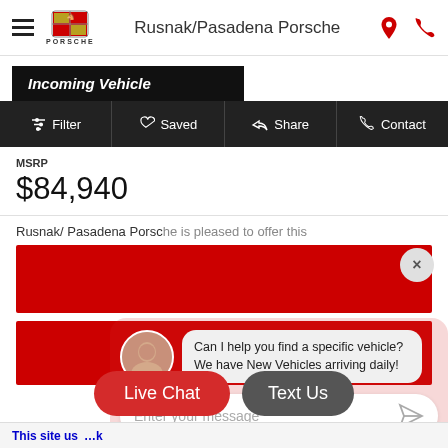Rusnak/Pasadena Porsche
[Figure (screenshot): Incoming Vehicle black banner with italic bold white text]
Filter  Saved  Share  Contact
MSRP
$84,940
Rusnak/ Pasadena Porsche is pleased to offer this
[Figure (photo): Red placeholder image bars for vehicle photo]
[Figure (screenshot): Live chat overlay with avatar, message bubble: Can I help you find a specific vehicle? We have New Vehicles arriving daily! and message input field]
Live Chat
Text Us
This site u...k